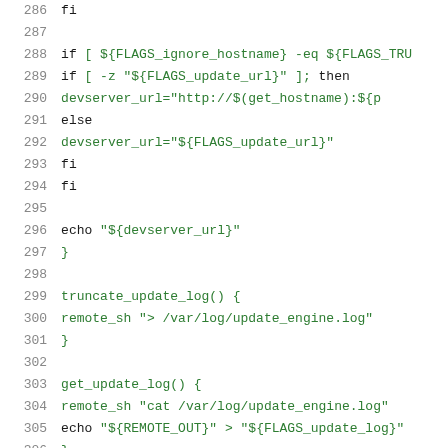Code listing lines 286-306: shell script snippet showing fi, if/else blocks, echo, truncate_update_log(), get_update_log() functions